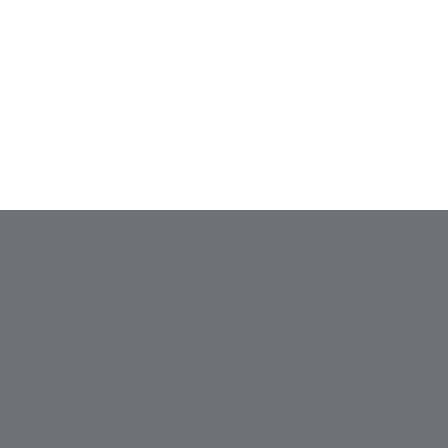[Figure (photo): White upper half of a cover page with no visible content]
The International Association of Hydrogeologists is a professional association for those within disciplines related to groundwater, its occurrence, utilisation, testing and management.